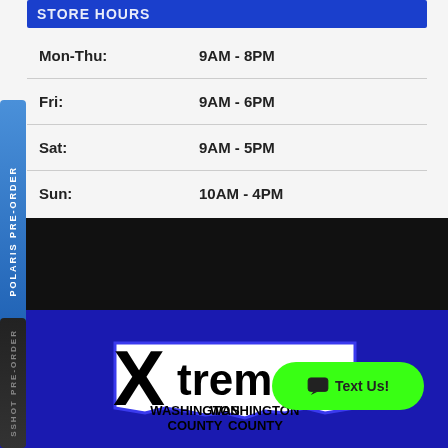STORE HOURS
| Day | Hours |
| --- | --- |
| Mon-Thu: | 9AM - 8PM |
| Fri: | 9AM - 6PM |
| Sat: | 9AM - 5PM |
| Sun: | 10AM - 4PM |
[Figure (logo): Xtreme Washington County logo — black X with 'treme' text inside a white Pennsylvania state silhouette on blue background]
Text Us!